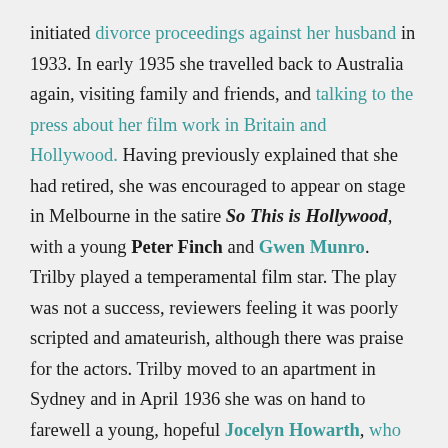initiated divorce proceedings against her husband in 1933. In early 1935 she travelled back to Australia again, visiting family and friends, and talking to the press about her film work in Britain and Hollywood. Having previously explained that she had retired, she was encouraged to appear on stage in Melbourne in the satire So This is Hollywood, with a young Peter Finch and Gwen Munro. Trilby played a temperamental film star. The play was not a success, reviewers feeling it was poorly scripted and amateurish, although there was praise for the actors. Trilby moved to an apartment in Sydney and in April 1936 she was on hand to farewell a young, hopeful Jocelyn Howarth, who was heading to Hollywood. In August 1937 Trilby departed Australia for England again, but via the US. In March 1939, she